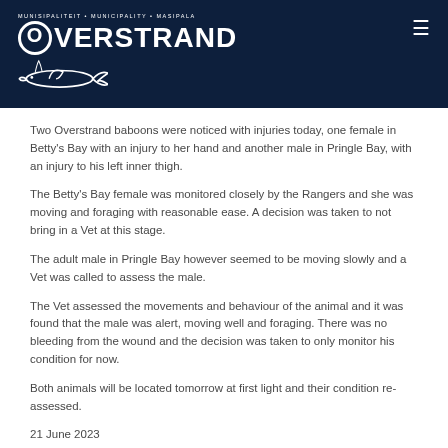Overstrand
Two Overstrand baboons were noticed with injuries today, one female in Betty's Bay with an injury to her hand and another male in Pringle Bay, with an injury to his left inner thigh.
The Betty's Bay female was monitored closely by the Rangers and she was moving and foraging with reasonable ease. A decision was taken to not bring in a Vet at this stage.
The adult male in Pringle Bay however seemed to be moving slowly and a Vet was called to assess the male.
The Vet assessed the movements and behaviour of the animal and it was found that the male was alert, moving well and foraging. There was no bleeding from the wound and the decision was taken to only monitor his condition for now.
Both animals will be located tomorrow at first light and their condition re-assessed.
21 June 2023